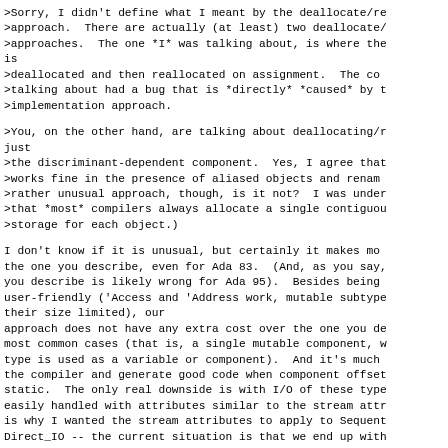>Sorry, I didn't define what I meant by the deallocate/re
>approach.  There are actually (at least) two deallocate/
>approaches.  The one *I* was talking about, is where the
is
>deallocated and then reallocated on assignment.  The co
>talking about had a bug that is *directly* *caused* by t
>implementation approach.
>You, on the other hand, are talking about deallocating/r
just
>the discriminant-dependent component.  Yes, I agree that
>works fine in the presence of aliased objects and renam
>rather unusual approach, though, is it not?  I was under
>that *most* compilers always allocate a single contiguou
>storage for each object.)
I don't know if it is unusual, but certainly it makes mo
the one you describe, even for Ada 83.  (And, as you say,
you describe is likely wrong for Ada 95).  Besides being
user-friendly ('Access and 'Address work, mutable subtype
their size limited), our
approach does not have any extra cost over the one you de
most common cases (that is, a single mutable component, w
type is used as a variable or component).  And it's much
the compiler and generate good code when component offset
static.  The only real downside is with I/O of these type
easily handled with attributes similar to the stream attr
is why I wanted the stream attributes to apply to Sequent
Direct_IO -- the current situation is that we end up with